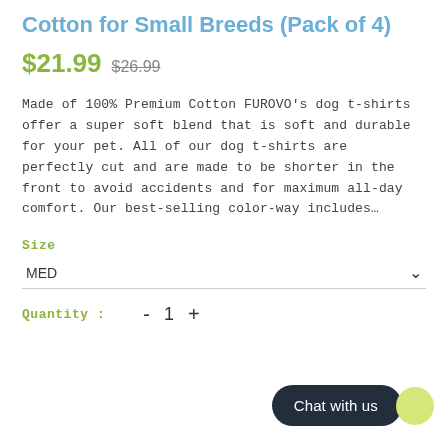Cotton for Small Breeds (Pack of 4)
$21.99  $26.99
Made of 100% Premium Cotton FUROVO's dog t-shirts offer a super soft blend that is soft and durable for your pet. All of our dog t-shirts are perfectly cut and are made to be shorter in the front to avoid accidents and for maximum all-day comfort. Our best-selling color-way includes...
Size
MED
Quantity :  -  1  +
Chat with us